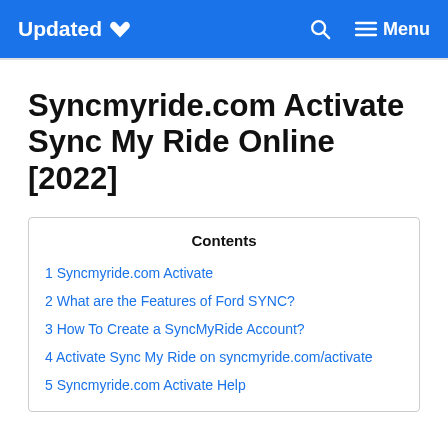Updated ♥    🔍    ☰ Menu
Syncmyride.com Activate Sync My Ride Online [2022]
Contents
1 Syncmyride.com Activate
2 What are the Features of Ford SYNC?
3 How To Create a SyncMyRide Account?
4 Activate Sync My Ride on syncmyride.com/activate
5 Syncmyride.com Activate Help